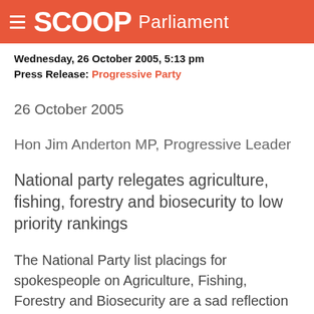SCOOP Parliament
Wednesday, 26 October 2005, 5:13 pm
Press Release: Progressive Party
26 October 2005
Hon Jim Anderton MP, Progressive Leader
National party relegates agriculture, fishing, forestry and biosecurity to low priority rankings
The National Party list placings for spokespeople on Agriculture, Fishing, Forestry and Biosecurity are a sad reflection on the policy priorities of a political party